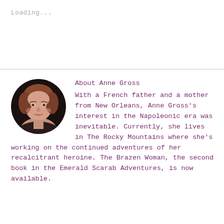Loading...
[Figure (photo): Circular portrait photo of Anne Gross, a woman with auburn/brown hair, light skin, smiling slightly, against a dark background.]
About Anne Gross
With a French father and a mother from New Orleans, Anne Gross’s interest in the Napoleonic era was inevitable. Currently, she lives in The Rocky Mountains where she’s working on the continued adventures of her recalcitrant heroine. The Brazen Woman, the second book in the Emerald Scarab Adventures, is now available.